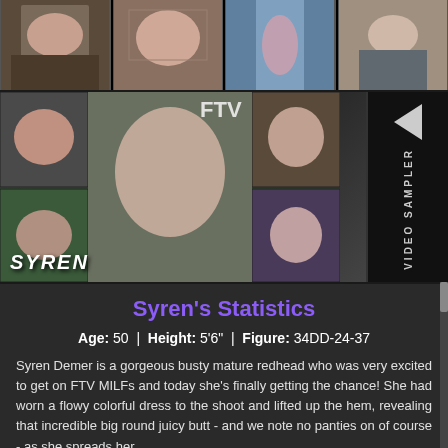[Figure (photo): Strip of four adult content photos across the top of the page]
[Figure (photo): Video thumbnail panel showing Syren Demer with play button overlay and SYREN text label, alongside a VIDEO SAMPLER button]
Syren's Statistics
Age: 50 | Height: 5'6" | Figure: 34DD-24-37
Syren Demer is a gorgeous busty mature redhead who was very excited to get on FTV MILFs and today she's finally getting the chance! She had worn a flowy colorful dress to the shoot and lifted up the hem, revealing that incredible big round juicy butt - and we note no panties on of course - as she spreads her